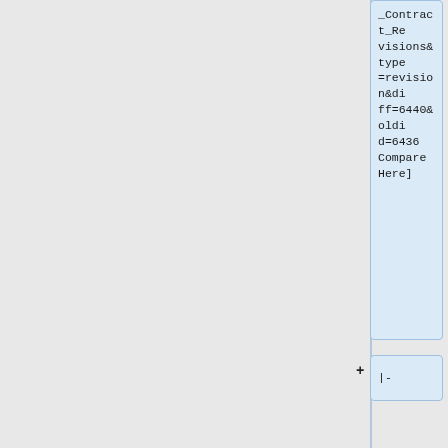_Contract_Revisions&type=revision&diff=6440&oldid=6436 Compare Here]
|-
| <center>10/27/2021</center>|| <center>1</center>|| <center>[[103.02_Contract_Revisions#top|103.02]]</center>||Updated